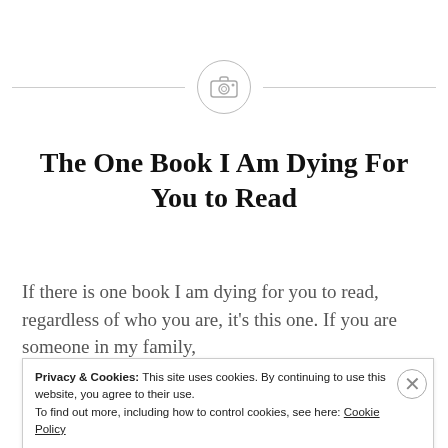[Figure (illustration): A camera icon inside a circle with horizontal lines extending left and right, acting as a divider]
The One Book I Am Dying For You to Read
If there is one book I am dying for you to read, regardless of who you are, it's this one. If you are someone in my family,
Privacy & Cookies: This site uses cookies. By continuing to use this website, you agree to their use.
To find out more, including how to control cookies, see here: Cookie Policy
Close and accept